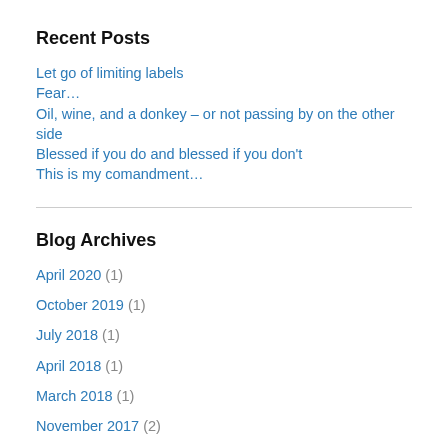Recent Posts
Let go of limiting labels
Fear…
Oil, wine, and a donkey – or not passing by on the other side
Blessed if you do and blessed if you don't
This is my comandment…
Blog Archives
April 2020 (1)
October 2019 (1)
July 2018 (1)
April 2018 (1)
March 2018 (1)
November 2017 (2)
October 2017 (1)
August 2017 (1)
July 2017 (2)